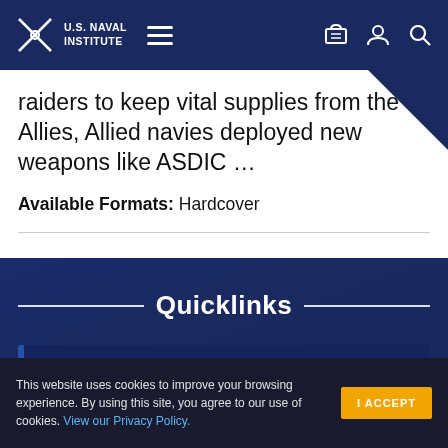U.S. Naval Institute
raiders to keep vital supplies from the Allies, Allied navies deployed new weapons like ASDIC …
Available Formats: Hardcover
Quicklinks
About the Naval Institute
This website uses cookies to improve your browsing experience. By using this site, you agree to our use of cookies. View our Privacy Policy.